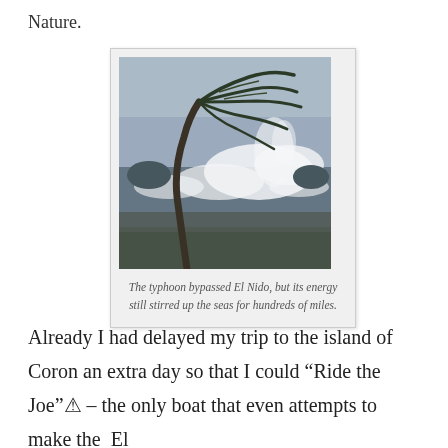Nature.
[Figure (photo): A palm tree bent sharply in strong typhoon winds on a stormy beach, with large crashing waves in the background under a grey sky.]
The typhoon bypassed El Nido, but its energy still stirred up the seas for hundreds of miles.
Already I had delayed my trip to the island of Coron an extra day so that I could “Ride the Joe”� – the only boat that even attempts to make the El